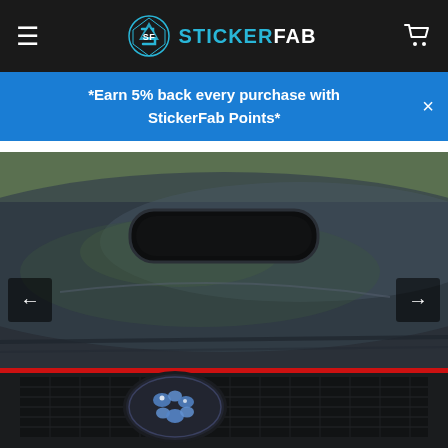STICKERFAB
*Earn 5% back every purchase with StickerFab Points*
[Figure (photo): Close-up photo of the front hood and grille area of a dark grey/black Subaru WRX STI, showing the hood scoop and Subaru logo emblem on the grille, with red accent stripe along the grille opening. Navigation arrows visible on left and right sides of the image.]